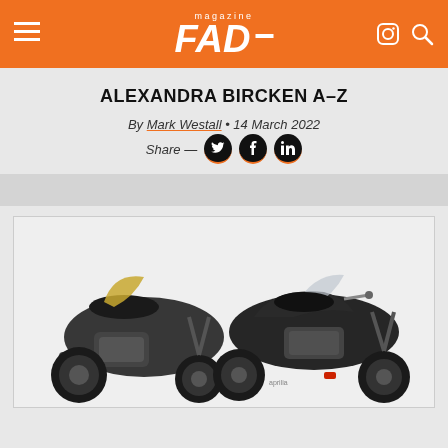FAD magazine
ALEXANDRA BIRCKEN A-Z
By Mark Westall • 14 March 2022
Share — [Twitter] [Facebook] [LinkedIn]
[Figure (photo): Two dark motorcycles photographed against a white background, shown from different angles side by side]